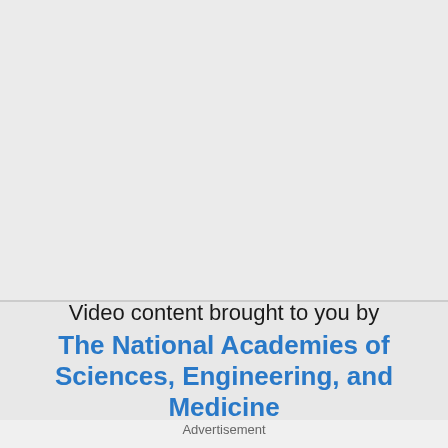[Figure (other): Large light gray rectangular area representing a video content placeholder at the top of the page]
Video content brought to you by The National Academies of Sciences, Engineering, and Medicine
Advertisement